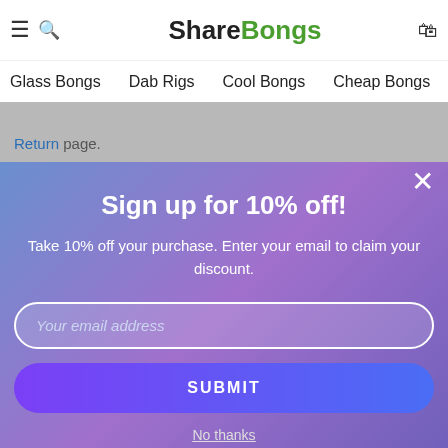ShareBongs — Glass Bongs, Dab Rigs, Cool Bongs, Cheap Bongs
Return page.
Sign up for 10% off!
Take 10% off your purchase. Enter your email to claim your discount.
Your email address
SUBMIT
No thanks